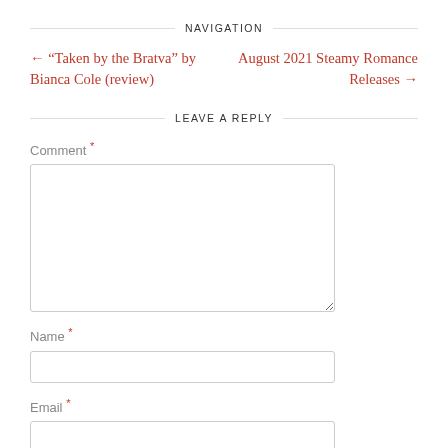NAVIGATION
← “Taken by the Bratva” by Bianca Cole (review)
August 2021 Steamy Romance Releases →
LEAVE A REPLY
Comment *
Name *
Email *